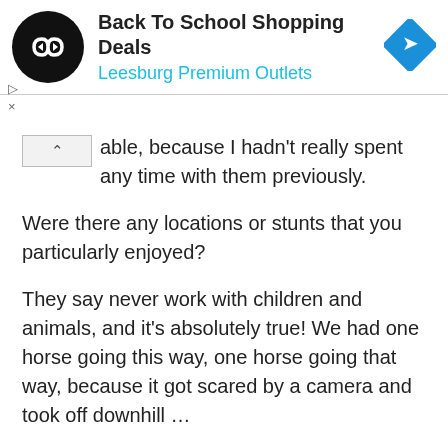[Figure (logo): Ad banner for Back To School Shopping Deals at Leesburg Premium Outlets, with circular black logo with white infinity-like symbol, cyan subtitle text, and a blue diamond navigation icon on the right.]
able, because I hadn't really spent any time with them previously.
Were there any locations or stunts that you particularly enjoyed?
They say never work with children and animals, and it's absolutely true! We had one horse going this way, one horse going that way, because it got scared by a camera and took off downhill …
There's only so much I can do in a horse and cart, because if the road is rocky, I can't do it – it's too much for my back, so I'm ruled by the road and the horse! That takes up a lot of time. We should have finished this in